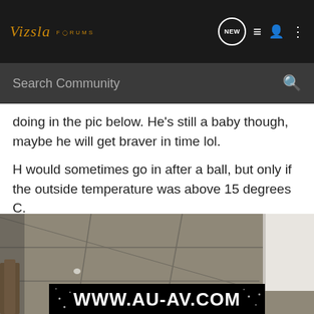Vizsla FORUMS
Search Community
doing in the pic below. He's still a baby though, maybe he will get braver in time lol.
H would sometimes go in after a ball, but only if the outside temperature was above 15 degrees C.
[Figure (photo): Photo of a tiled floor (grey large format tiles) with a wooden chair leg visible on the left side and a white wall/door on the right. A watermark bar at the bottom reads WWW.AU-AV.COM in white bold text on black background.]